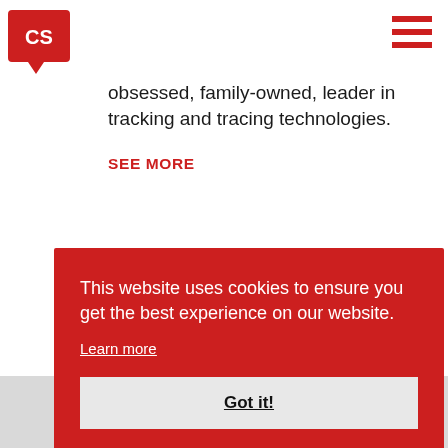[Figure (logo): Red speech bubble logo with 'CS' text in white]
[Figure (other): Hamburger menu icon — three red horizontal lines]
obsessed, family-owned, leader in tracking and tracing technologies.
SEE MORE
This website uses cookies to ensure you get the best experience on our website.
Learn more
Got it!